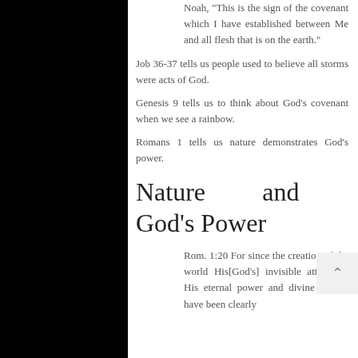Noah, "This is the sign of the covenant which I have established between Me and all flesh that is on the earth."
Job 36-37 tells us people used to believe all storms were acts of God.
Genesis 9 tells us to think about God's covenant when we see a rainbow.
Romans 1 tells us nature demonstrates God's power.
Nature and God's Power
Rom. 1:20 For since the creation of the world His[God's] invisible attributes, His eternal power and divine nature, have been clearly